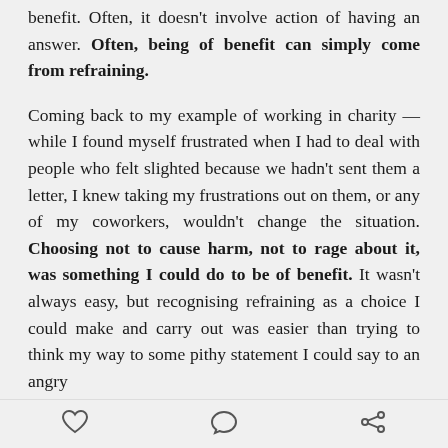benefit. Often, it doesn't involve action of having an answer. Often, being of benefit can simply come from refraining.
Coming back to my example of working in charity — while I found myself frustrated when I had to deal with people who felt slighted because we hadn't sent them a letter, I knew taking my frustrations out on them, or any of my coworkers, wouldn't change the situation. Choosing not to cause harm, not to rage about it, was something I could do to be of benefit. It wasn't always easy, but recognising refraining as a choice I could make and carry out was easier than trying to think my way to some pithy statement I could say to an angry
[heart icon] [comment icon] [share icon]